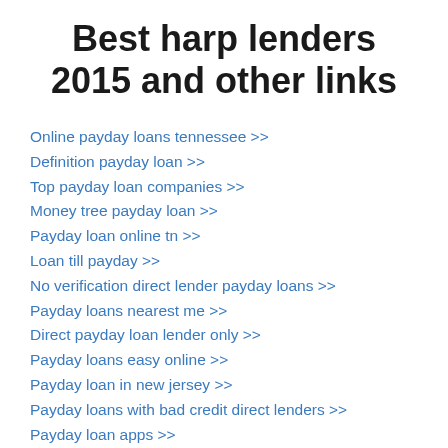Best harp lenders 2015 and other links
Online payday loans tennessee >>
Definition payday loan >>
Top payday loan companies >>
Money tree payday loan >>
Payday loan online tn >>
Loan till payday >>
No verification direct lender payday loans >>
Payday loans nearest me >>
Direct payday loan lender only >>
Payday loans easy online >>
Payday loan in new jersey >>
Payday loans with bad credit direct lenders >>
Payday loan apps >>